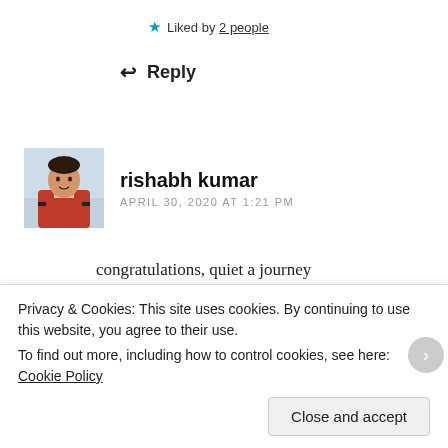★ Liked by 2 people
↩ Reply
[Figure (photo): Avatar photo of rishabh kumar — a man in a red sweater against a light background]
rishabh kumar
APRIL 30, 2020 AT 1:21 PM
congratulations, quiet a journey
★ Liked by 1 person
↩ Reply
Privacy & Cookies: This site uses cookies. By continuing to use this website, you agree to their use.
To find out more, including how to control cookies, see here: Cookie Policy
Close and accept